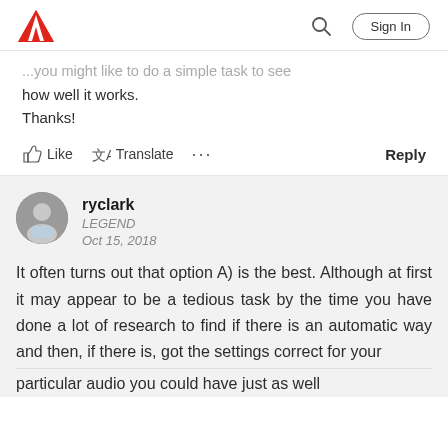Adobe — Sign In
how well it works.
Thanks!
Like   Translate   ...   Reply
ryclark
LEGEND
Oct 15, 2018
It often turns out that option A) is the best. Although at first it may appear to be a tedious task by the time you have done a lot of research to find if there is an automatic way and then, if there is, got the settings correct for your particular audio you could have just as well